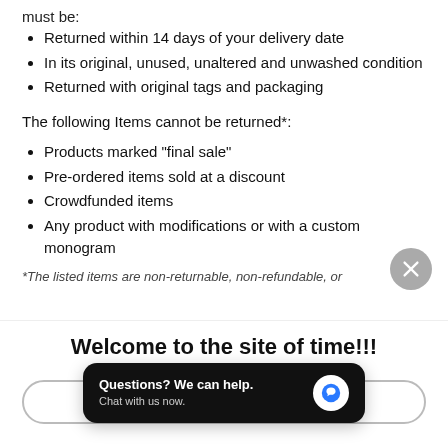must be:
Returned within 14 days of your delivery date
In its original, unused, unaltered and unwashed condition
Returned with original tags and packaging
The following Items cannot be returned*:
Products marked "final sale"
Pre-ordered items sold at a discount
Crowdfunded items
Any product with modifications or with a custom monogram
*The listed items are non-returnable, non-refundable, or
Welcome to the site of time!!!
Questions? We can help. Chat with us now.